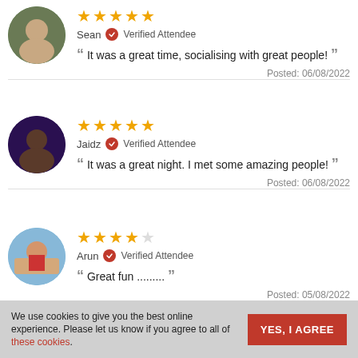Sean - Verified Attendee - 5 stars - It was a great time, socialising with great people! - Posted: 06/08/2022
Jaidz - Verified Attendee - 5 stars - It was a great night. I met some amazing people! - Posted: 06/08/2022
Arun - Verified Attendee - 4 stars - Great fun ......... - Posted: 05/08/2022
Nicholas - Verified Attendee - Jake was a superstar! Top host!
We use cookies to give you the best online experience. Please let us know if you agree to all of these cookies.